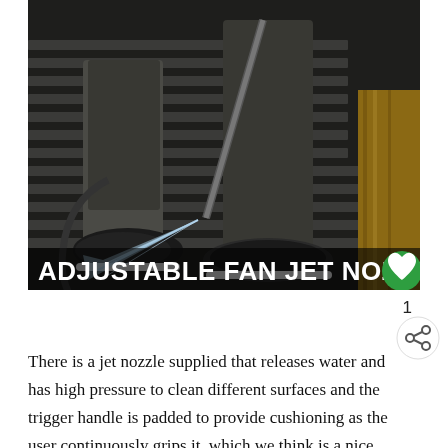[Figure (photo): Person using a pressure washer/jet nozzle on a metal grate surface, showing legs and feet from knees down, water spray visible. Text overlay at bottom reads ADJUSTABLE FAN JET NOZZLE. Green heart icon in lower right corner.]
1
There is a jet nozzle supplied that releases water and has high pressure to clean different surfaces and the trigger handle is padded to provide cushioning as the user continuously grips it, which we think is a nice finish